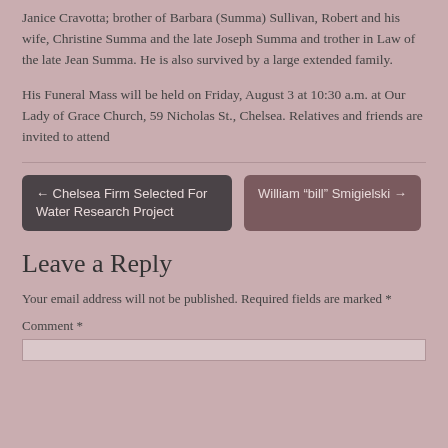Janice Cravotta; brother of Barbara (Summa) Sullivan, Robert and his wife, Christine Summa and the late Joseph Summa and trother in Law of the late Jean Summa. He is also survived by a large extended family.
His Funeral Mass will be held on Friday, August 3 at 10:30 a.m. at Our Lady of Grace Church, 59 Nicholas St., Chelsea. Relatives and friends are invited to attend
← Chelsea Firm Selected For Water Research Project
William “bill” Smigielski →
Leave a Reply
Your email address will not be published. Required fields are marked *
Comment *